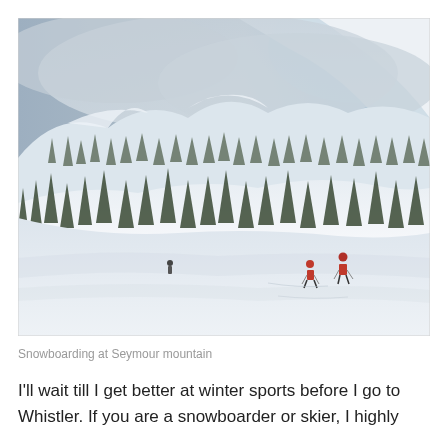[Figure (photo): Snowy mountain scene with two skiers in red jackets on a wide snowy slope, surrounded by snow-covered evergreen trees and misty mountain peaks in the background. Overcast sky with patches of blue.]
Snowboarding at Seymour mountain
I'll wait till I get better at winter sports before I go to Whistler. If you are a snowboarder or skier, I highly